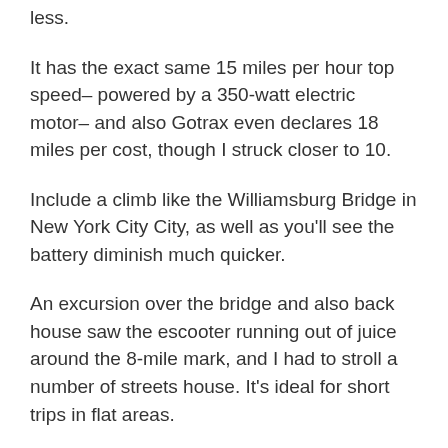less.
It has the exact same 15 miles per hour top speed– powered by a 350-watt electric motor– and also Gotrax even declares 18 miles per cost, though I struck closer to 10.
Include a climb like the Williamsburg Bridge in New York City City, as well as you'll see the battery diminish much quicker.
An excursion over the bridge and also back house saw the escooter running out of juice around the 8-mile mark, and I had to stroll a number of streets house. It's ideal for short trips in flat areas.
The S...